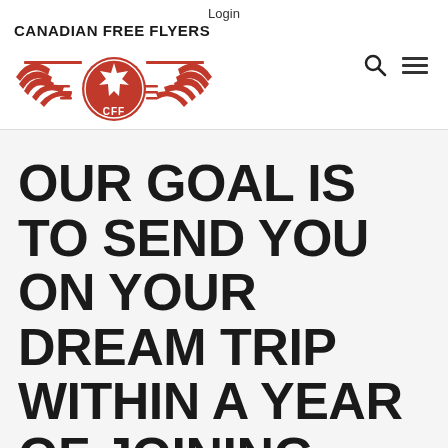Login
[Figure (logo): Canadian Free Flyers logo with red wings, maple leaf, and CFF text in a circular badge]
OUR GOAL IS TO SEND YOU ON YOUR DREAM TRIP WITHIN A YEAR OF JOINING CANADIAN FREE FLYERS